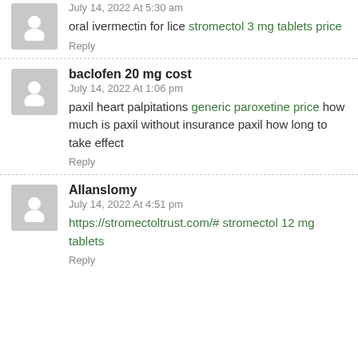oral ivermectin for lice stromectol 3 mg tablets price
July 14, 2022 At 5:30 am
Reply
baclofen 20 mg cost
July 14, 2022 At 1:06 pm
paxil heart palpitations generic paroxetine price how much is paxil without insurance paxil how long to take effect
Reply
Allanslomy
July 14, 2022 At 4:51 pm
https://stromectoltrust.com/# stromectol 12 mg tablets
Reply